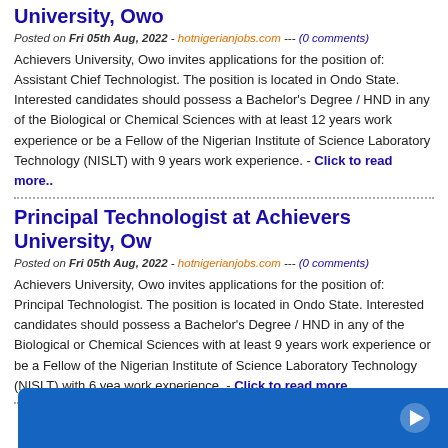University, Owo
Posted on Fri 05th Aug, 2022 - hotnigerianjobs.com --- (0 comments)
Achievers University, Owo invites applications for the position of: Assistant Chief Technologist. The position is located in Ondo State. Interested candidates should possess a Bachelor's Degree / HND in any of the Biological or Chemical Sciences with at least 12 years work experience or be a Fellow of the Nigerian Institute of Science Laboratory Technology (NISLT) with 9 years work experience. - Click to read more..
Principal Technologist at Achievers University, Owo
Posted on Fri 05th Aug, 2022 - hotnigerianjobs.com --- (0 comments)
Achievers University, Owo invites applications for the position of: Principal Technologist. The position is located in Ondo State. Interested candidates should possess a Bachelor's Degree / HND in any of the Biological or Chemical Sciences with at least 9 years work experience or be a Fellow of the Nigerian Institute of Science Laboratory Technology (NISLT) with 6 years work experience. - Click to read more..
[Figure (other): Blue advertisement banner with play button icon at bottom of page]